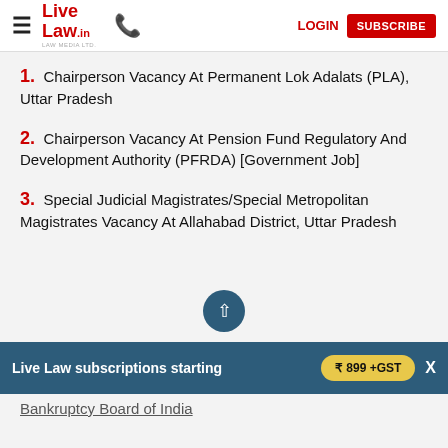Live Law | LOGIN | SUBSCRIBE
1. Chairperson Vacancy At Permanent Lok Adalats (PLA), Uttar Pradesh
2. Chairperson Vacancy At Pension Fund Regulatory And Development Authority (PFRDA) [Government Job]
3. Special Judicial Magistrates/Special Metropolitan Magistrates Vacancy At Allahabad District, Uttar Pradesh
Live Law subscriptions starting ₹ 899 +GST
Bankruptcy Board of India